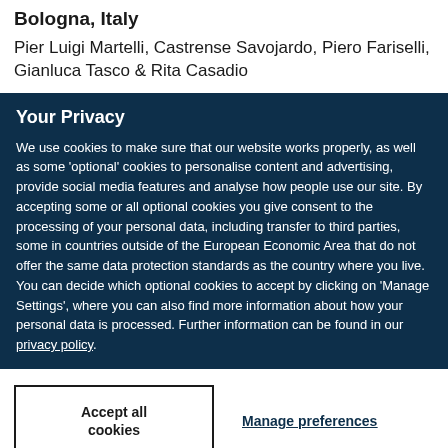Bologna, Italy
Pier Luigi Martelli, Castrense Savojardo, Piero Fariselli, Gianluca Tasco & Rita Casadio
Your Privacy
We use cookies to make sure that our website works properly, as well as some 'optional' cookies to personalise content and advertising, provide social media features and analyse how people use our site. By accepting some or all optional cookies you give consent to the processing of your personal data, including transfer to third parties, some in countries outside of the European Economic Area that do not offer the same data protection standards as the country where you live. You can decide which optional cookies to accept by clicking on 'Manage Settings', where you can also find more information about how your personal data is processed. Further information can be found in our privacy policy.
Accept all cookies
Manage preferences